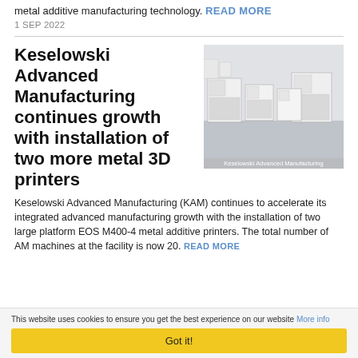metal additive manufacturing technology. READ MORE
1 SEP 2022
Keselowski Advanced Manufacturing continues growth with installation of two more metal 3D printers
[Figure (photo): Interior of a manufacturing facility showing multiple large white industrial metal 3D printers arranged in a clean room. Caption reads: Keselowski Advanced Manufacturing]
Keselowski Advanced Manufacturing (KAM) continues to accelerate its integrated advanced manufacturing growth with the installation of two large platform EOS M400-4 metal additive printers. The total number of AM machines at the facility is now 20. READ MORE
This website uses cookies to ensure you get the best experience on our website More info
Got it!